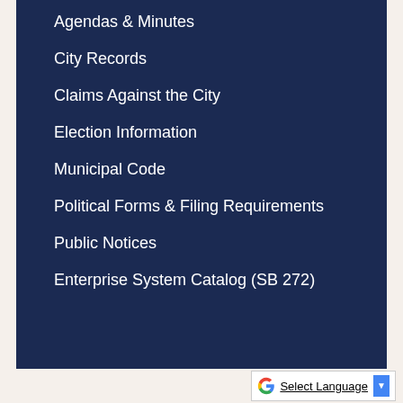Agendas & Minutes
City Records
Claims Against the City
Election Information
Municipal Code
Political Forms & Filing Requirements
Public Notices
Enterprise System Catalog (SB 272)
Select Language